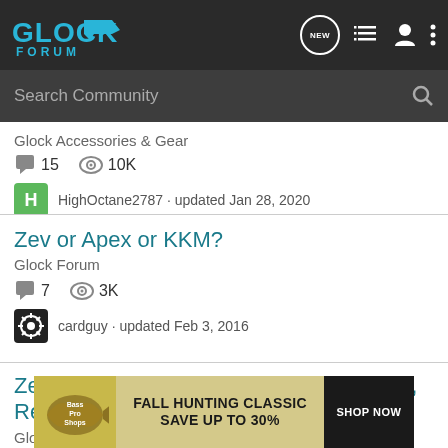GLOCK FORUM - navigation header with NEW, list, user, and more icons
Search Community
Glock Accessories & Gear
15 comments, 10K views
HighOctane2787 · updated Jan 28, 2020
Zev or Apex or KKM?
Glock Forum
7 comments, 3K views
cardguy · updated Feb 3, 2016
Zev vs. KKM vs. S3F Barrels for the G34, Recom...
Glock F...
[Figure (infographic): Bass Pro Shops advertisement banner: FALL HUNTING CLASSIC SAVE UP TO 30% with SHOP NOW button]